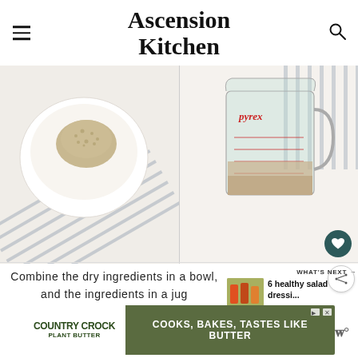Ascension Kitchen
[Figure (photo): Two-panel food photo: left side shows a white bowl with dry oats/seeds on a striped cloth; right side shows a Pyrex glass measuring jug with liquid ingredients on white surface.]
Combine the dry ingredients in a bowl, and the ingredients in a jug
WHAT'S NEXT → 6 healthy salad dressi...
[Figure (photo): Small thumbnail of salad dressings]
[Figure (advertisement): Country Crock Plant Butter ad: COOKS, BAKES, TASTES LIKE BUTTER]